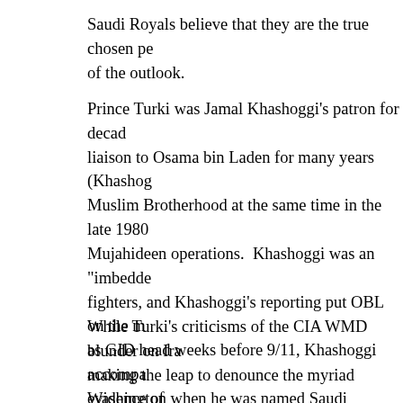Saudi Royals believe that they are the true chosen pe... of the outlook.
Prince Turki was Jamal Khashoggi's patron for decad... liaison to Osama bin Laden for many years (Kashog... Muslim Brotherhood at the same time in the late 1980... Mujahideen operations. Khashoggi was an "imbedde... fighters, and Khashoggi's reporting put OBL on the m... as GID head weeks before 9/11, Khashoggi accompa... Washington when he was named Saudi ambassador... the United States. When Turki returned home, he res... newspaper and made Jamal Khashoggi the editor-in-c...
While Turki's criticisms of the CIA WMD blunder on Ira... making the leap to denounce the myriad evidence of... Khashoggi murder is more an act of survival and oppe... as MBS remains on top, the surface loyalty will remai...